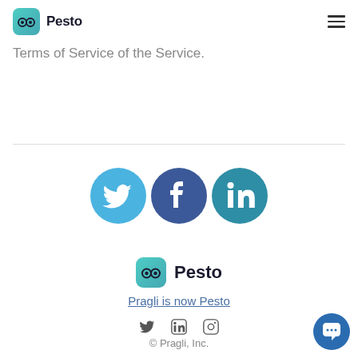Pesto
violations of these Terms of Service or Terms of Service of the Service.
[Figure (logo): Twitter, Facebook, and LinkedIn social media icons as large colored circles]
[Figure (logo): Pesto logo with glasses icon and bold Pesto text]
Pragli is now Pesto
[Figure (logo): Small Twitter, LinkedIn, and Instagram icons]
© Pragli, Inc.